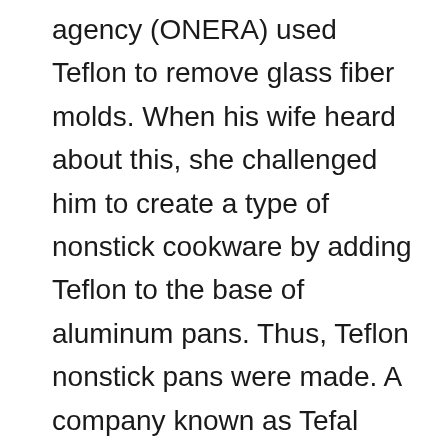agency (ONERA) used Teflon to remove glass fiber molds. When his wife heard about this, she challenged him to create a type of nonstick cookware by adding Teflon to the base of aluminum pans. Thus, Teflon nonstick pans were made. A company known as Tefal decided to market this cooking invention and made it an international success. This invention has helped us find ways to cook the food in a much healthier way.